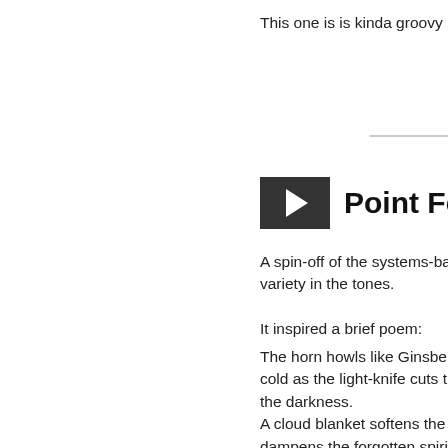This one is is kinda groovy in a vag…
[Figure (screenshot): Video player thumbnail with play button and title 'Point Fermin Fo…']
A spin-off of the systems-based app… variety in the tones.
It inspired a brief poem:
The horn howls like Ginsberg,
cold as the light-knife cuts through
the darkness.
A cloud blanket softens the night,
dampens the forgotten spirits
that haunt Angel's Gate,
forever waiting for imagined
invaders.
I ache for that softness,
breathe it in,
but the edge remains.